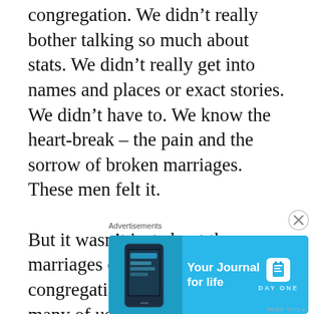congregation. We didn't really bother talking so much about stats. We didn't really get into names and places or exact stories. We didn't have to. We know the heart-break – the pain and the sorrow of broken marriages. These men felt it.

But it wasn't just about the marriages of people within our congregations that concerned many of us. It was
[Figure (other): Advertisement banner for Day One journal app with blue background, phone graphic on left, text 'Your Journal for life' in center, and Day One logo on right]